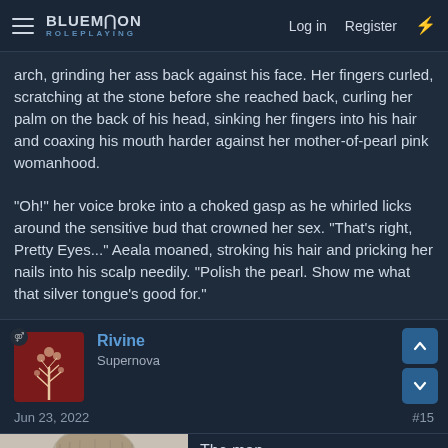BLUEMOON ROLEPLAYING — Log in | Register
arch, grinding her ass back against his face. Her fingers curled, scratching at the stone before she reached back, curling her palm on the back of his head, sinking her fingers into his hair and coaxing his mouth harder against her mother-of-pearl pink womanhood.

"Oh!" her voice broke into a choked gasp as he whirled licks around the sensitive bud that crowned her sex. "That's right, Pretty Eyes..." Aeala moaned, stroking his hair and pricking her nails into his scalp needily. "Polish the pearl. Show me what that silver tongue's good for."
Rivine
Supernova
Jun 23, 2022
#15
The man smiled as